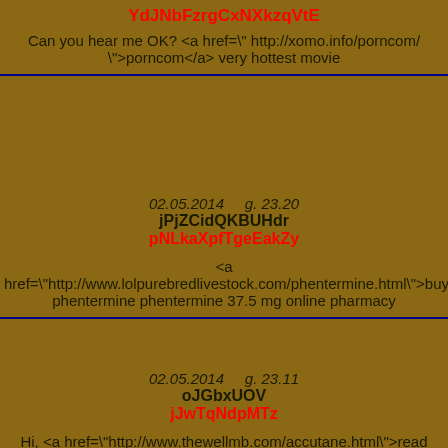YdJNbFzrgCxNXkzqVtE
Can you hear me OK? <a href=" http://xomo.info/porncom/ ">porncom</a> very hottest movie
02.05.2014    g. 23.20
jPjZCidQKBUHdr
pNLkaXpfTgeEakZy
<a href="http://www.lolpurebredlivestock.com/phentermine.html">buy phentermine phentermine 37.5 mg online pharmacy
02.05.2014    g. 23.11
oJGbxUOV
jJwTqNdpMTz
Hi, <a href="http://www.thewellmb.com/accutane.html">read this</a> best online pharmacy